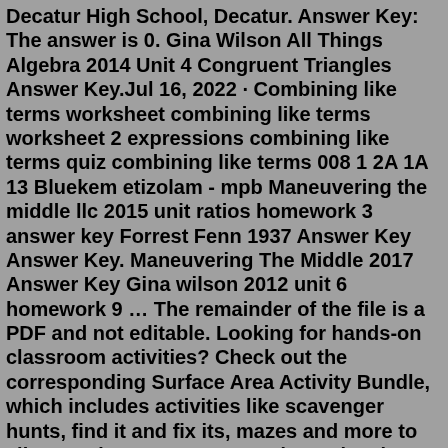Decatur High School, Decatur. Answer Key: The answer is 0. Gina Wilson All Things Algebra 2014 Unit 4 Congruent Triangles Answer Key.Jul 16, 2022 · Combining like terms worksheet combining like terms worksheet 2 expressions combining like terms quiz combining like terms 008 1 2A 1A 13 Bluekem etizolam - mpb Maneuvering the middle llc 2015 unit ratios homework 3 answer key Forrest Fenn 1937 Answer Key Answer Key. Maneuvering The Middle 2017 Answer Key Gina wilson 2012 unit 6 homework 9 ... The remainder of the file is a PDF and not editable. Looking for hands-on classroom activities? Check out the corresponding Surface Area Activity Bundle, which includes activities like scavenger hunts, find it and fix its, mazes and more to allow students to engage and practice the concepts. Win-win! More 7th Grade Units: com Maneuvering The Middle Llc 2016 Answer Key 7th Grade Maneuvering The Middle Llc 2015 Worksheets Answer Key. numbers rolled is 7. The store manager must work 40 hours that week. Tillfälligt slut. Support Vox's explanatory journalism.